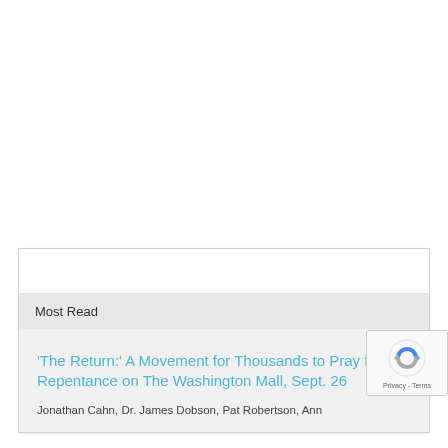Most Read
'The Return:' A Movement for Thousands to Pray for Repentance on The Washington Mall, Sept. 26
Jonathan Cahn, Dr. James Dobson, Pat Robertson, Ann